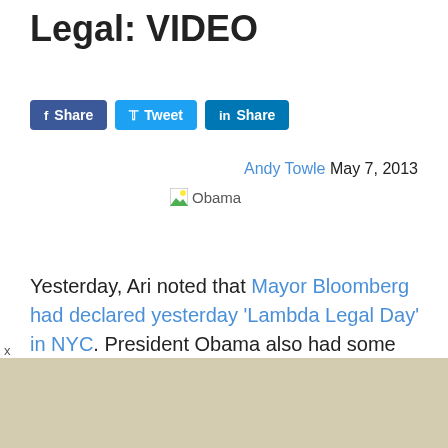Legal: VIDEO
[Figure (other): Social share buttons: Facebook Share, Tweet, LinkedIn Share]
Andy Towle May 7, 2013
[Figure (photo): Broken image placeholder labeled 'Obama']
Yesterday, Ari noted that Mayor Bloomberg had declared yesterday 'Lambda Legal Day' in NYC. President Obama also had some kind words for the country's oldest and arguably most important LGBT legal services organization, and related them in a
[Figure (other): Advertisement banner area (beige/tan background)]